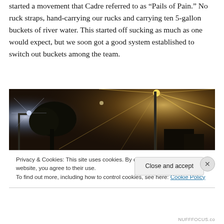started a movement that Cadre referred to as “Pails of Pain.” No ruck straps, hand-carrying our rucks and carrying ten 5-gallon buckets of river water. This started off sucking as much as one would expect, but we soon got a good system established to switch out buckets among the team.
[Figure (photo): Nighttime outdoor photo showing streetlights with bright starburst glare, trees, and a street scene with warm amber/orange ambient lighting.]
Privacy & Cookies: This site uses cookies. By continuing to use this website, you agree to their use.
To find out more, including how to control cookies, see here: Cookie Policy
NUFFFOCUS.co